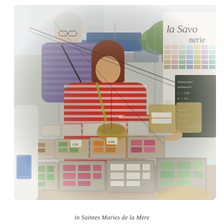[Figure (photo): Outdoor market scene showing a woman in a red and white striped top leaning over bins of colorful soap bars at a soap vendor stall. An older man in a purple/grey striped shirt stands behind her. A white sign on the right reads 'la Savo' (la Savonnerie) with a chalkboard showing prices and product information. The display consists of many rectangular bins containing soap bars in various colors: green, pink/red, orange, cream, brown. A basket hangs from a line. Trees and blue tent visible in background.]
in Saintes Maries de la Mere